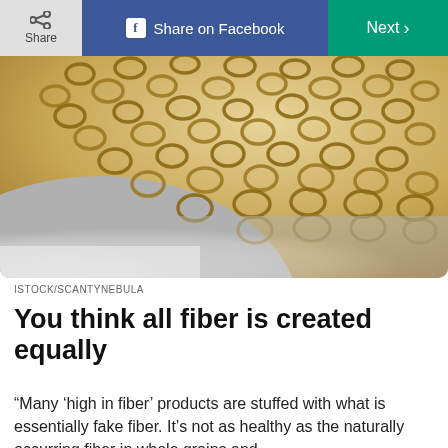Share | Share on Facebook | Next >
[Figure (photo): Close-up photo of cereal rings (Cheerios-style) in a white bowl, warm golden tones.]
ISTOCK/SCANTYNEBULA
You think all fiber is created equally
“Many ‘high in fiber’ products are stuffed with what is essentially fake fiber. It’s not as healthy as the naturally occurring fiber in whole grains and